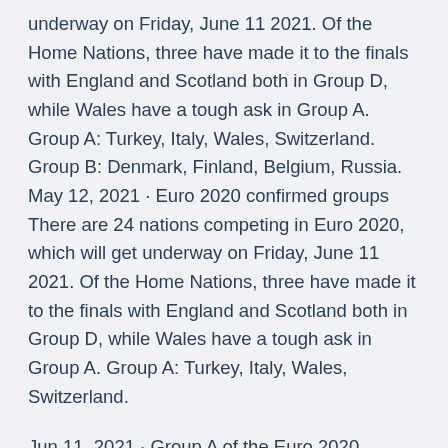underway on Friday, June 11 2021. Of the Home Nations, three have made it to the finals with England and Scotland both in Group D, while Wales have a tough ask in Group A. Group A: Turkey, Italy, Wales, Switzerland. Group B: Denmark, Finland, Belgium, Russia. May 12, 2021 · Euro 2020 confirmed groups There are 24 nations competing in Euro 2020, which will get underway on Friday, June 11 2021. Of the Home Nations, three have made it to the finals with England and Scotland both in Group D, while Wales have a tough ask in Group A. Group A: Turkey, Italy, Wales, Switzerland.
Jun 11, 2021 · Group A of the Euro 2020 tournament features Italy, Turkey, Wales and Switzerland. Group A begins play on Friday with Italy taking on Turkey in the opener. Wales then plays Switzerland on Saturday